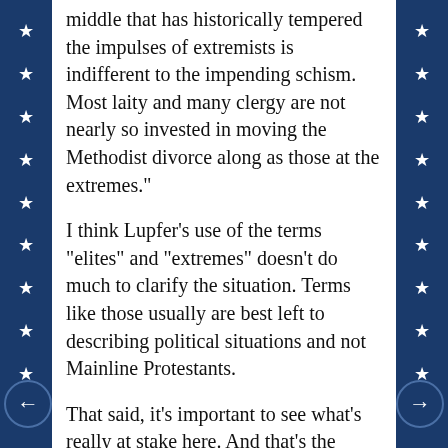middle that has historically tempered the impulses of extremists is indifferent to the impending schism. Most laity and many clergy are not nearly so invested in moving the Methodist divorce along as those at the extremes."
I think Lupfer's use of the terms "elites" and "extremes" doesn't do much to clarify the situation. Terms like those usually are best left to describing political situations and not Mainline Protestants.
That said, it's important to see what's really at stake here. And that's the question of how to interpret the Bible. If it's interpreted in a literalistic way that ignores or glosses over the context in which certain passages were written, it's possible to come to the